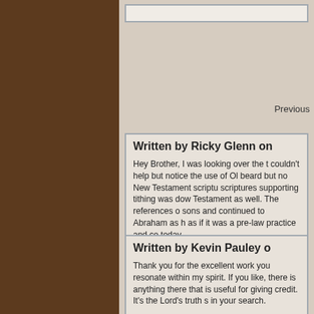Previous
Written by Ricky Glenn on
Hey Brother, I was looking over the t couldn't help but notice the use of Ol beard but no New Testament scriptu scriptures supporting tithing was dow Testament as well. The references o sons and continued to Abraham as h as if it was a pre-law practice and co today.
Email: r.glenn56@gmail.c
Written by Kevin Pauley o
Thank you for the excellent work you resonate within my spirit. If you like, there is anything there that is useful for giving credit. It's the Lord's truth s in your search.